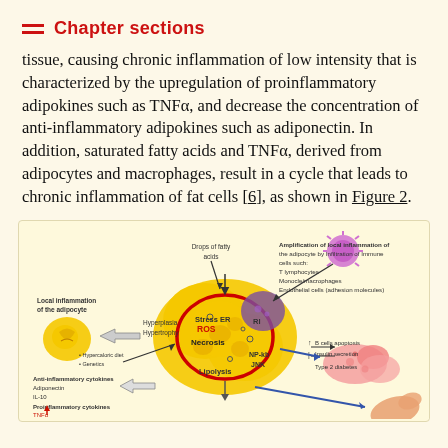Chapter sections
tissue, causing chronic inflammation of low intensity that is characterized by the upregulation of proinflammatory adipokines such as TNFα, and decrease the concentration of anti-inflammatory adipokines such as adiponectin. In addition, saturated fatty acids and TNFα, derived from adipocytes and macrophages, result in a cycle that leads to chronic inflammation of fat cells [6], as shown in Figure 2.
[Figure (illustration): Diagram showing local inflammation of the adipocyte, including hyperplasia, hypertrophy, stress ER, ROS, Necrosis, RI, NP-kb JNK, Lipolysis processes, anti-inflammatory and proinflammatory cytokines, drops of fatty acids, amplification of local inflammation by infiltration of immune cells (T lymphocytes, Monocle/macrophages, Endothelial cells with adhesion molecules), effects on B cells apoptosis, insulin secretion, and Type 2 diabetes.]